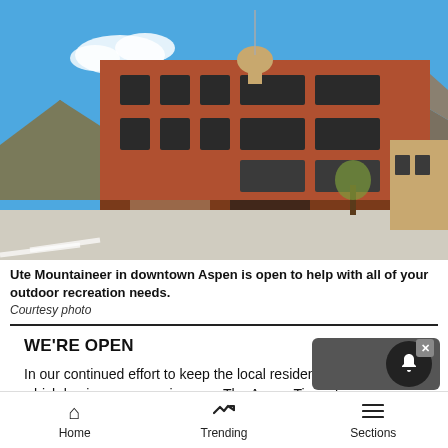[Figure (photo): Exterior photo of Ute Mountaineer outdoor store in downtown Aspen — a historic red-brick multi-story building on a street corner under a bright blue sky with mountains in the background.]
Ute Mountaineer in downtown Aspen is open to help with all of your outdoor recreation needs. Courtesy photo
WE'RE OPEN
In our continued effort to keep the local residents informed on which businesses remain open, The Aspen Times has